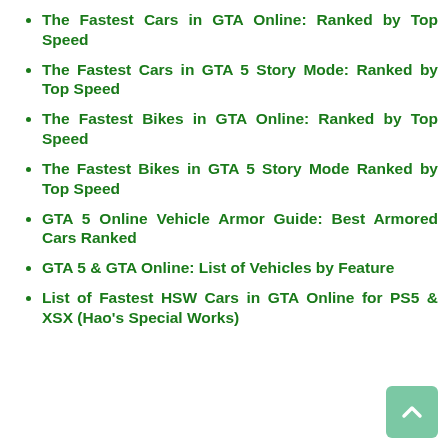The Fastest Cars in GTA Online: Ranked by Top Speed
The Fastest Cars in GTA 5 Story Mode: Ranked by Top Speed
The Fastest Bikes in GTA Online: Ranked by Top Speed
The Fastest Bikes in GTA 5 Story Mode Ranked by Top Speed
GTA 5 Online Vehicle Armor Guide: Best Armored Cars Ranked
GTA 5 & GTA Online: List of Vehicles by Feature
List of Fastest HSW Cars in GTA Online for PS5 & XSX (Hao's Special Works)